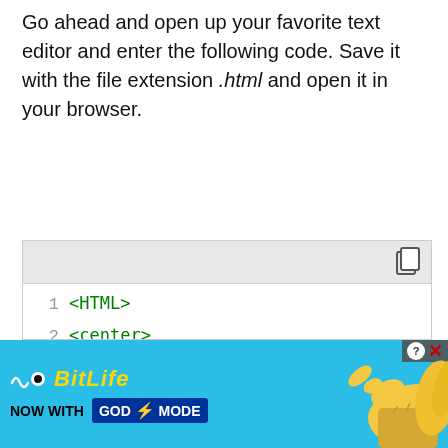Go ahead and open up your favorite text editor and enter the following code. Save it with the file extension .html and open it in your browser.
[Figure (screenshot): Code editor screenshot showing HTML code with line numbers. Line 1: <HTML>, Line 2: <center>, Line 3: (blank), Line 4: <form name="myform" action="http://little_wemos2.local/light/wemos_led/turn_off" method="post">, Line 5: <button>LED OFF</button>]
[Figure (infographic): BitLife advertisement banner with 'NOW WITH GOD MODE' text, yellow pointing hand illustration, and close/help buttons]